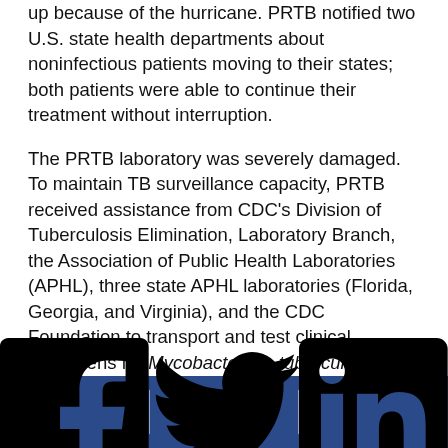up because of the hurricane. PRTB notified two U.S. state health departments about noninfectious patients moving to their states; both patients were able to continue their treatment without interruption.
The PRTB laboratory was severely damaged. To maintain TB surveillance capacity, PRTB received assistance from CDC's Division of Tuberculosis Elimination, Laboratory Branch, the Association of Public Health Laboratories (APHL), three state APHL laboratories (Florida, Georgia, and Virginia), and the CDC Foundation to transport and test clinical specimens for Mycobacterium tuberculosis. The first package of M. tuberculosis specimens was sent of October 17, 4 weeks after the disaster (6), and the process continued until local laboratory testing resumed in July 2018.
[Facebook] [Twitter] [LinkedIn]